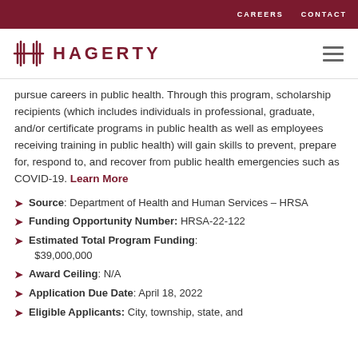CAREERS   CONTACT
[Figure (logo): Hagerty logo with stylized H icon and wordmark HAGERTY in dark red, plus hamburger menu icon]
pursue careers in public health. Through this program, scholarship recipients (which includes individuals in professional, graduate, and/or certificate programs in public health as well as employees receiving training in public health) will gain skills to prevent, prepare for, respond to, and recover from public health emergencies such as COVID-19. Learn More
Source: Department of Health and Human Services – HRSA
Funding Opportunity Number: HRSA-22-122
Estimated Total Program Funding: $39,000,000
Award Ceiling: N/A
Application Due Date: April 18, 2022
Eligible Applicants: City, township, state, and